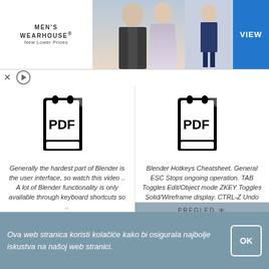[Figure (screenshot): Men's Wearhouse advertisement banner with couple in formal wear and child in suit, VIEW button]
[Figure (screenshot): PDF file icon for Blender interface video]
Generally the hardest part of Blender is the user interface, so watch this video .. A lot of Blender functionality is only available through keyboard shortcuts so ..
PREGLED
PREUZIMANJE DATOTEKA
[Figure (screenshot): PDF file icon for Blender Hotkeys Cheatsheet]
Blender Hotkeys Cheatsheet. General ESC Stops ongoing operation. TAB Toggles Edit/Object mode ZKEY Toggles Solid/Wireframe display. CTRL-Z Undo
PREGLED
PREUZIMANJE DATOTEKA
Ova web stranica koristi kolačiće kako bi osigurala najbolje iskustva na našoj web stranici.
OK